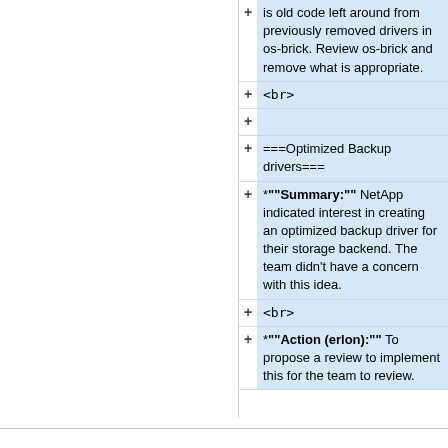+ is old code left around from previously removed drivers in os-brick.  Review os-brick and remove what is appropriate.
+ <br>
+
+ ===Optimized Backup drivers===
+ *""Summary:"" NetApp indicated interest in creating an optimized backup driver for their storage backend.  The team didn't have a concern with this idea.
+ <br>
+ *""Action (erlon):"" To propose a review to implement this for the team to review.